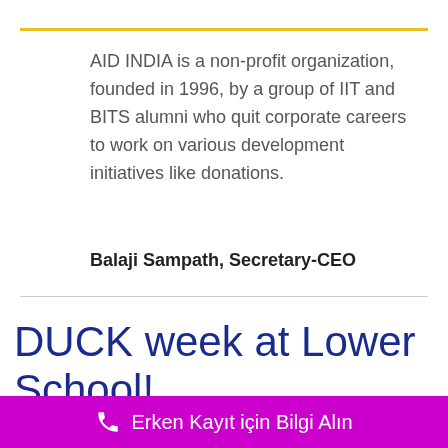AID INDIA is a non-profit organization, founded in 1996, by a group of IIT and BITS alumni who quit corporate careers to work on various development initiatives like donations.
Balaji Sampath, Secretary-CEO
DUCK week at Lower School!
The multi-group recital included jolly renditions from the
Erken Kayıt için Bilgi Alın